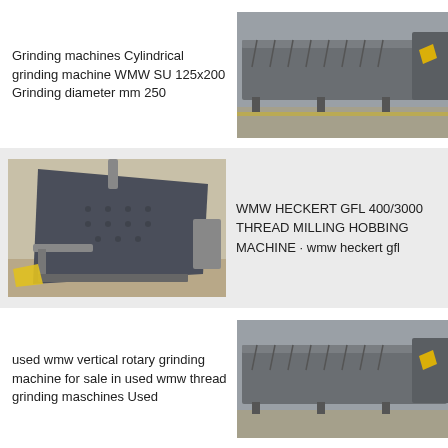Grinding machines Cylindrical grinding machine WMW SU 125x200 Grinding diameter mm 250
[Figure (photo): Photo of a large industrial cylindrical grinding machine (WMW SU 125x200), gray colored, sitting on a factory floor]
[Figure (photo): Photo of a WMW HECKERT GFL 400/3000 thread milling hobbing machine, dark blue/gray, large flat rectangular body on factory floor]
WMW HECKERT GFL 400/3000 THREAD MILLING HOBBING MACHINE · wmw heckert gfl
used wmw vertical rotary grinding machine for sale in used wmw thread grinding maschines Used
[Figure (photo): Partial photo of a large industrial grinding machine, gray, similar to the first image]